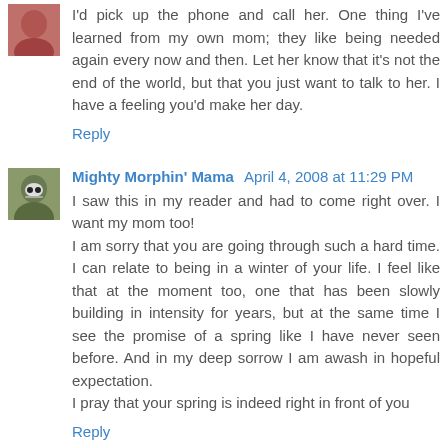I'd pick up the phone and call her. One thing I've learned from my own mom; they like being needed again every now and then. Let her know that it's not the end of the world, but that you just want to talk to her. I have a feeling you'd make her day.
Reply
Mighty Morphin' Mama April 4, 2008 at 11:29 PM
I saw this in my reader and had to come right over. I want my mom too! I am sorry that you are going through such a hard time. I can relate to being in a winter of your life. I feel like that at the moment too, one that has been slowly building in intensity for years, but at the same time I see the promise of a spring like I have never seen before. And in my deep sorrow I am awash in hopeful expectation. I pray that your spring is indeed right in front of you
Reply